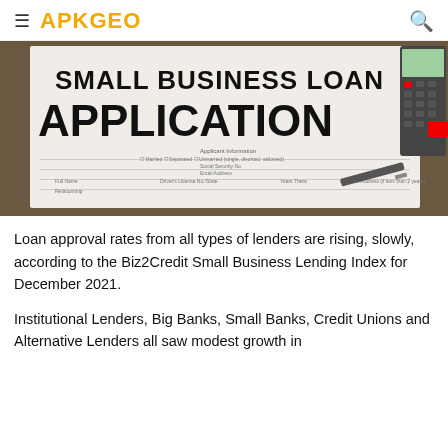APKGEO
[Figure (photo): Photo of a Small Business Loan Application form with a calculator in the background]
Loan approval rates from all types of lenders are rising, slowly, according to the Biz2Credit Small Business Lending Index for December 2021.
Institutional Lenders, Big Banks, Small Banks, Credit Unions and Alternative Lenders all saw modest growth in